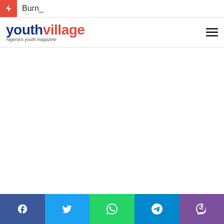Burn_
[Figure (logo): Youth Village - Nigeria's youth magazine logo with blue 'youth' and red 'village' text]
Social share buttons: Facebook, Twitter, WhatsApp, Telegram, Viber